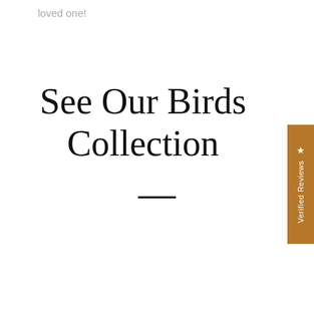loved one!
See Our Birds Collection
[Figure (other): Golden/brown vertical sidebar tab with star icon and 'Verified Reviews' text rotated vertically]